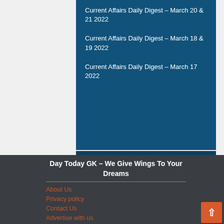Current Affairs Daily Digest – March 20 & 21 2022
Current Affairs Daily Digest – March 18 & 19 2022
Current Affairs Daily Digest – March 17 2022
Day Today GK – We Give Wings To Your Dreams
About Us
Privacy policy
Contact Us
Advertise with us